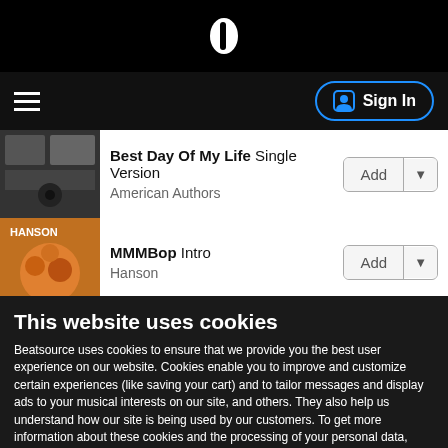b (Beatsource logo)
Sign In
Best Day Of My Life Single Version
American Authors
Add
MMMBop Intro
Hanson
Add
Dancing Queen
ABBA
Add
This website uses cookies
Beatsource uses cookies to ensure that we provide you the best user experience on our website. Cookies enable you to improve and customize certain experiences (like saving your cart) and to tailor messages and display ads to your musical interests on our site, and others. They also help us understand how our site is being used by our customers. To get more information about these cookies and the processing of your personal data, check out our Privacy and Cookie Policy. By clicking Accept Recommended Cookies you consent to the cookies on our site.
Accept Recommended Cookies
Update Preferences